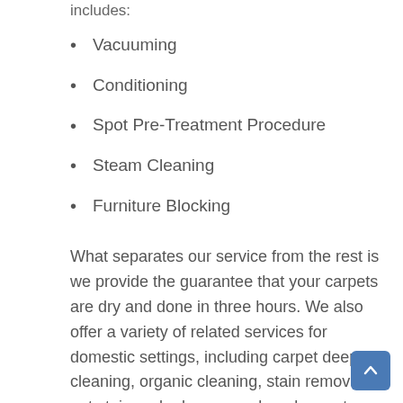includes:
Vacuuming
Conditioning
Spot Pre-Treatment Procedure
Steam Cleaning
Furniture Blocking
What separates our service from the rest is we provide the guarantee that your carpets are dry and done in three hours. We also offer a variety of related services for domestic settings, including carpet deep cleaning, organic cleaning, stain removal, pet stain and odor removal, and carpet installation.
Cleaning your carpets is not a DIY job. You want the experts to handle it because carpets require special attention for them to remain in tiptop condition. Give us a call at (805) 804-0298 today or email us at